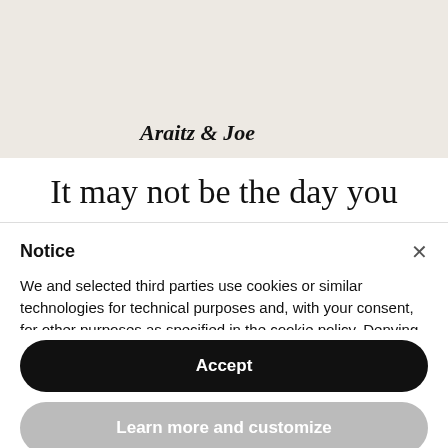Araitz & Joe
It may not be the day you
Notice
We and selected third parties use cookies or similar technologies for technical purposes and, with your consent, for other purposes as specified in the cookie policy. Denying consent may make related features unavailable.
Use the “Accept” button or close this notice to consent to the use of such technologies.
Accept
Learn more and customize